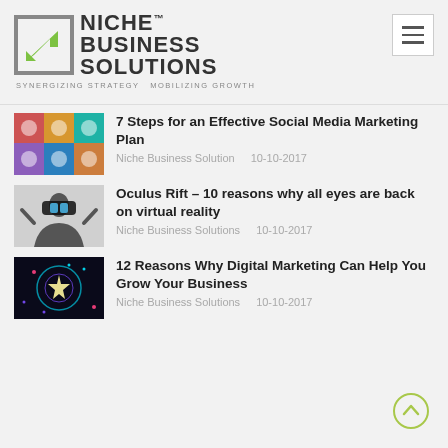[Figure (logo): Niche Business Solutions logo with green arrow icon and tagline SYNERGIZING STRATEGY MOBILIZING GROWTH]
7 Steps for an Effective Social Media Marketing Plan — Niche Business Solution  10-10-2017
Oculus Rift – 10 reasons why all eyes are back on virtual reality — Niche Business Solutions  10-10-2017
12 Reasons Why Digital Marketing Can Help You Grow Your Business — Niche Business Solutions  10-10-2017